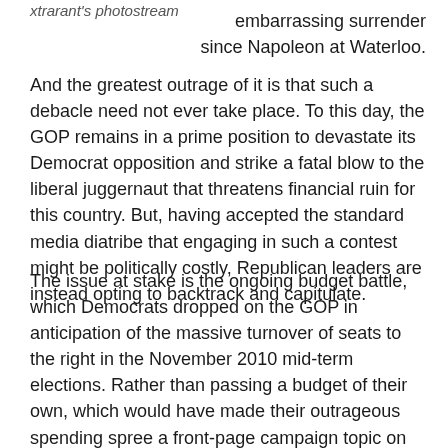xtrarant's photostream
embarrassing surrender since Napoleon at Waterloo.
And the greatest outrage of it is that such a debacle need not ever take place. To this day, the GOP remains in a prime position to devastate its Democrat opposition and strike a fatal blow to the liberal juggernaut that threatens financial ruin for this country. But, having accepted the standard media diatribe that engaging in such a contest might be politically costly, Republican leaders are instead opting to backtrack and capitulate.
The issue at stake is the ongoing budget battle, which Democrats dropped on the GOP in anticipation of the massive turnover of seats to the right in the November 2010 mid-term elections. Rather than passing a budget of their own, which would have made their outrageous spending spree a front-page campaign topic on the eve of the election, they punted,